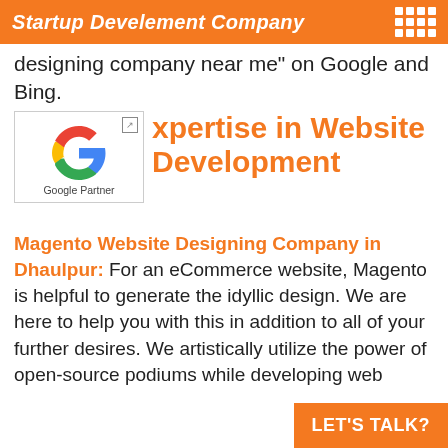Startup Develement Company
designing company near me" on Google and Bing.
[Figure (logo): Google Partner badge with Google G logo and 'Google Partner' text]
Expertise in Website Development
Magento Website Designing Company in Dhaulpur: For an eCommerce website, Magento is helpful to generate the idyllic design. We are here to help you with this in addition to all of your further desires. We artistically utilize the power of open-source podiums while developing web